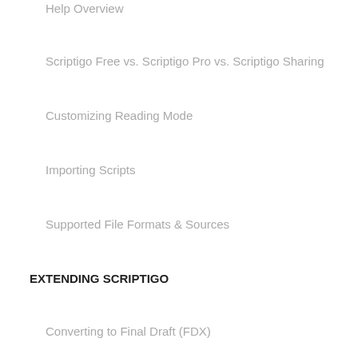Help Overview
Scriptigo Free vs. Scriptigo Pro vs. Scriptigo Sharing
Customizing Reading Mode
Importing Scripts
Supported File Formats & Sources
EXTENDING SCRIPTIGO
Converting to Final Draft (FDX)
SCRIPTIGO PRO & SCRIPTIGO SHARING
Editing Scripts
Script Versioning
Sharing Scripts with a Team
Exporting Scripts
Printing Scripts, Outlines, & Shot Lists
Notes: Script Notes